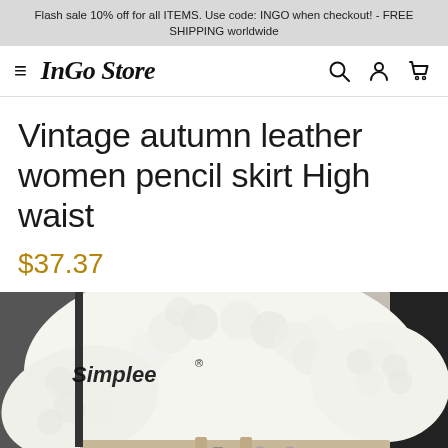Flash sale 10% off for all ITEMS. Use code: INGO when checkout! - FREE SHIPPING worldwide
InGo Store
Vintage autumn leather women pencil skirt High waist
$37.37
[Figure (photo): A woman wearing a white fluffy/textured knit sweater and a beige/nude leather pencil skirt with silver buttons and a zipper detail at the waist. The brand 'Simplee®' is visible in the upper left of the image.]